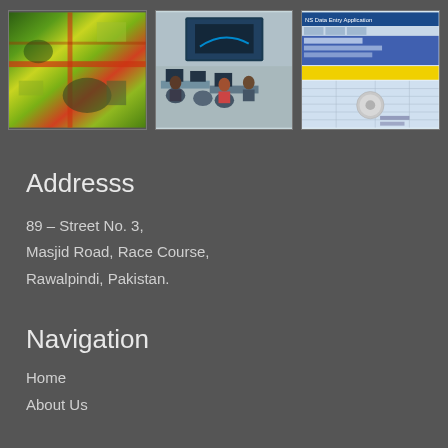[Figure (photo): Satellite/aerial map image with colorful vegetation index overlay showing roads and land use]
[Figure (photo): Office room with people sitting at computers with a large display screen on the wall]
[Figure (screenshot): NS Data Entry Application software screenshot showing a data entry form with Urdu text and a government emblem]
Addresss
89 – Street No. 3,
Masjid Road, Race Course,
Rawalpindi, Pakistan.
Navigation
Home
About Us